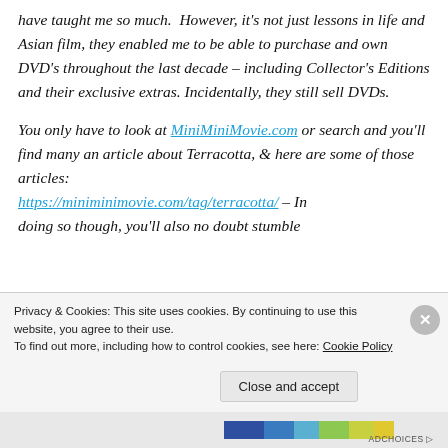have taught me so much. However, it's not just lessons in life and Asian film, they enabled me to be able to purchase and own DVD's throughout the last decade – including Collector's Editions and their exclusive extras. Incidentally, they still sell DVDs.
You only have to look at MiniMiniMovie.com or search and you'll find many an article about Terracotta, & here are some of those articles: https://miniminimovie.com/tag/terracotta/ – In doing so though, you'll also no doubt stumble
Privacy & Cookies: This site uses cookies. By continuing to use this website, you agree to their use.
To find out more, including how to control cookies, see here: Cookie Policy
Close and accept